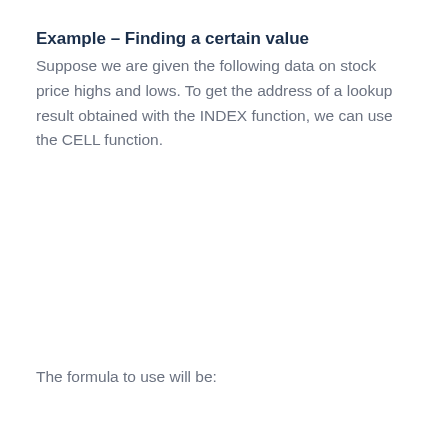Example – Finding a certain value
Suppose we are given the following data on stock price highs and lows. To get the address of a lookup result obtained with the INDEX function, we can use the CELL function.
The formula to use will be: